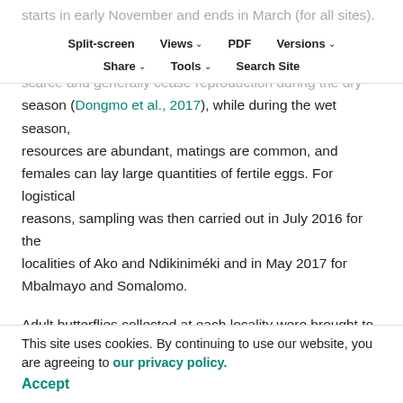starts in early November and ends in March (for all sites). The wet season was chosen because B. Dorothea adults are scarce and generally cease reproduction during the dry season (Dongmo et al., 2017), while during the wet season, resources are abundant, matings are common, and females can lay large quantities of fertile eggs. For logistical reasons, sampling was then carried out in July 2016 for the localities of Ako and Ndikiniméki and in May 2017 for Mbalmayo and Somalomo.
Adult butterflies collected at each locality were brought to the laboratory at the International Institute of Tropical Agriculture (IITA) in Yaoundé, Cameroon. For each
measured from the females kept in cages (ten individuals per cage) with mashed banana, distilled water and potted millet
Split-screen | Views | PDF | Versions | Share | Tools | Search Site
This site uses cookies. By continuing to use our website, you are agreeing to our privacy policy.
Accept